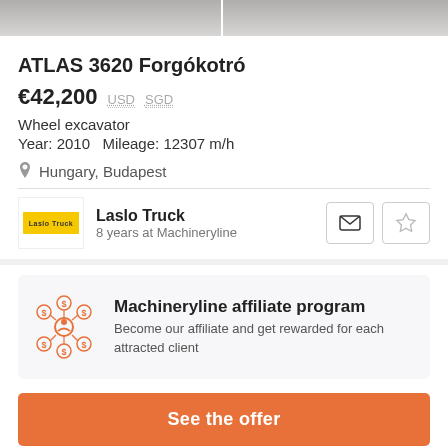[Figure (photo): Two cropped equipment/excavator images side by side, showing lower portions]
ATLAS 3620 Forgókotró
€42,200  USD  SGD
Wheel excavator
Year: 2010   Mileage: 12307 m/h
Hungary, Budapest
Laslo Truck
8 years at Machineryline
Machineryline affiliate program
Become our affiliate and get rewarded for each attracted client
See the offer